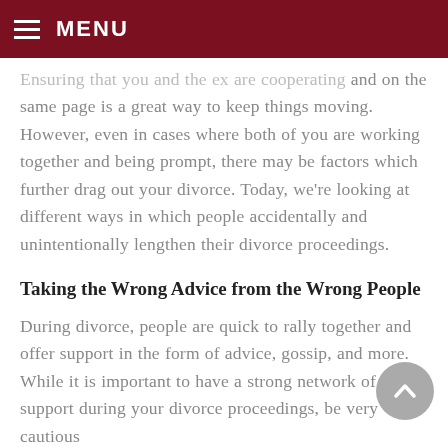MENU
Ensuring that you and the ex are cooperating and on the same page is a great way to keep things moving. However, even in cases where both of you are working together and being prompt, there may be factors which further drag out your divorce. Today, we're looking at different ways in which people accidentally and unintentionally lengthen their divorce proceedings.
Taking the Wrong Advice from the Wrong People
During divorce, people are quick to rally together and offer support in the form of advice, gossip, and more. While it is important to have a strong network of support during your divorce proceedings, be very cautious